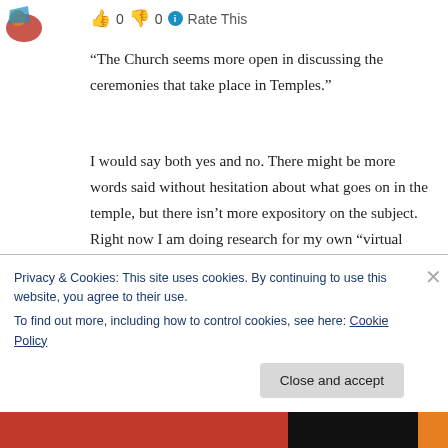[Figure (illustration): Partial avatar/icon in top-left corner]
👍 0 👎 0 ℹ Rate This
“The Church seems more open in discussing the ceremonies that take place in Temples.”
I would say both yes and no. There might be more words said without hesitation about what goes on in the temple, but there isn’t more expository on the subject. Right now I am doing research for my own “virtual temple tour” and so am reading up on official discussions to verify
Privacy & Cookies: This site uses cookies. By continuing to use this website, you agree to their use.
To find out more, including how to control cookies, see here: Cookie Policy
Close and accept